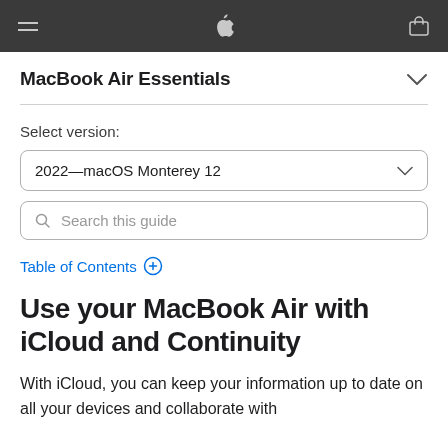MacBook Air Essentials
Select version:
2022—macOS Monterey 12
Search this guide
Table of Contents (+)
Use your MacBook Air with iCloud and Continuity
With iCloud, you can keep your information up to date on all your devices and collaborate with